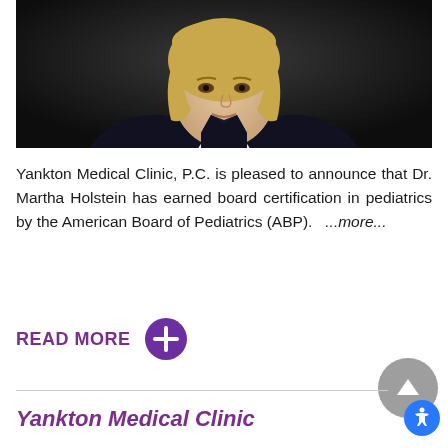[Figure (photo): Professional headshot of Dr. Martha Holstein, a blonde woman in a dark blazer over a white blouse, photographed against a dark background.]
Yankton Medical Clinic, P.C. is pleased to announce that Dr. Martha Holstein has earned board certification in pediatrics by the American Board of Pediatrics (ABP).  ...more...
READ MORE
Yankton Medical Clinic